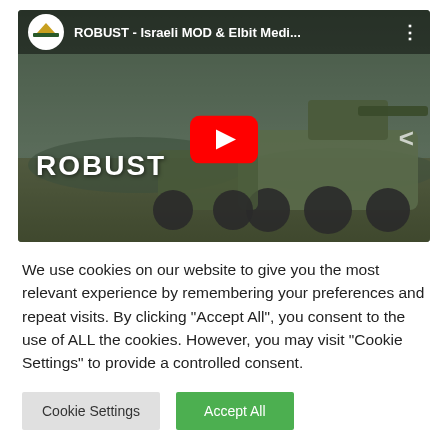[Figure (screenshot): YouTube video thumbnail showing a military unmanned ground vehicle (ROBUST) in a desert setting. Video title reads 'ROBUST - Israeli MOD & Elbit Medi...' with Elbit Systems channel logo. A large red YouTube play button is centered. The word ROBUST appears in white text at bottom left.]
We use cookies on our website to give you the most relevant experience by remembering your preferences and repeat visits. By clicking "Accept All", you consent to the use of ALL the cookies. However, you may visit "Cookie Settings" to provide a controlled consent.